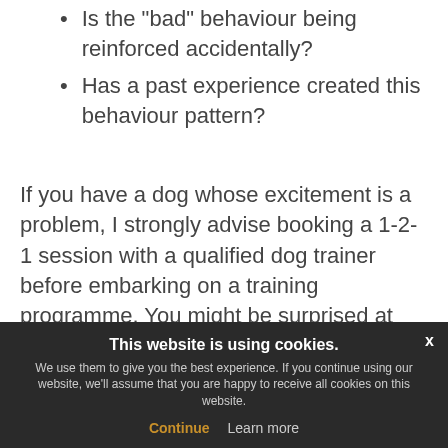Is the “bad” behaviour being reinforced accidentally?
Has a past experience created this behaviour pattern?
If you have a dog whose excitement is a problem, I strongly advise booking a 1-2-1 session with a qualified dog trainer before embarking on a training programme. You might be surprised at what you learn and how much it speeds your
This website is using cookies.
We use them to give you the best experience. If you continue using our website, we’ll assume that you are happy to receive all cookies on this website.
Continue   Learn more